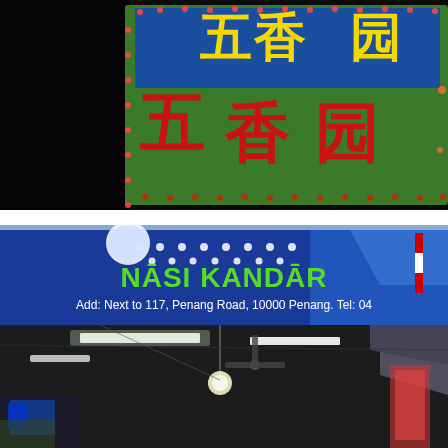[Figure (photo): Nighttime photo of a Chinese restaurant sign with yellow-green Chinese characters (五香园 style) on a blue background, with red lettering, decorated with string lights along the edges. The background is very dark.]
[Figure (photo): Photo of a Nasi Kandar restaurant sign on a blue background with white dots and green text reading 'NASI KANDAR', below which is the address 'Add: Next to 117, Penang Road, 10000 Penang. Tel: 04' in white text. Below the sign is an indoor market or food court corridor with fluorescent lighting, fans, and people.]